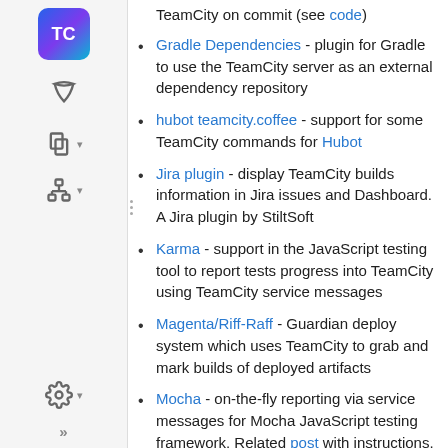TeamCity on commit (see code)
Gradle Dependencies - plugin for Gradle to use the TeamCity server as an external dependency repository
hubot teamcity.coffee - support for some TeamCity commands for Hubot
Jira plugin - display TeamCity builds information in Jira issues and Dashboard. A Jira plugin by StiltSoft
Karma - support in the JavaScript testing tool to report tests progress into TeamCity using TeamCity service messages
Magenta/Riff-Raff - Guardian deploy system which uses TeamCity to grab and mark builds of deployed artifacts
Mocha - on-the-fly reporting via service messages for Mocha JavaScript testing framework. Related post with instructions.
Plastic SCM
QNUnit
Stash Commit Hook - a plugin for Atlassian Stash to force TeamCity VCS root checking for changes on new changes in Stash